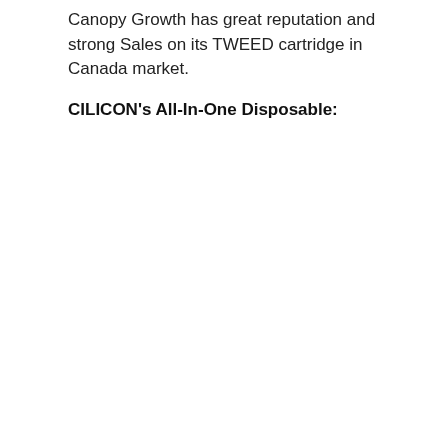Canopy Growth has great reputation and strong Sales on its TWEED cartridge in Canada market.
CILICON's All-In-One Disposable: